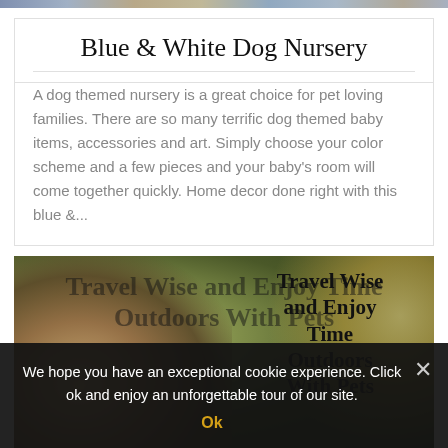[Figure (photo): Top strip showing a row of thumbnail images of people and pets]
Blue & White Dog Nursery
A dog themed nursery is a great choice for pet loving families. There are so many terrific dog themed baby items, accessories and art. Simply choose your color scheme and a few pieces and your baby's room will come together quickly. Home decor done right with this blue &...
[Figure (photo): Woman in yellow beanie hat hugging a golden Labrador dog outdoors in a sunny field, with overlaid text reading 'Travel Wise and Enjoy Time Outdoors With Pets']
Travel Wise and Enjoy Time Outdoors With Pets
We hope you have an exceptional cookie experience. Click ok and enjoy an unforgettable tour of our site.
Ok